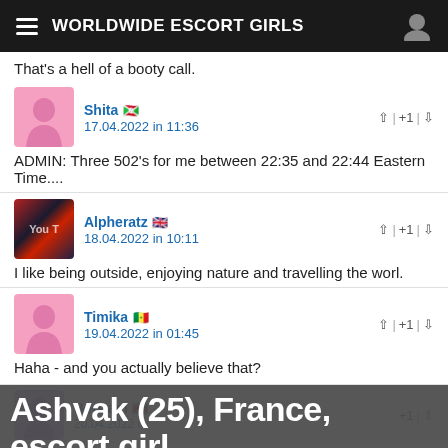WORLDWIDE ESCORT GIRLS
That's a hell of a booty call.
Shita 🇧🇮
17.04.2022 in 11:36  | +1 |
ADMIN: Three 502's for me between 22:35 and 22:44 Eastern Time....
Alpheratz 🇬🇧
18.04.2022 in 10:11  | +1 |
I like being outside, enjoying nature and travelling the worl.
Timika 🇸🇳
19.04.2022 in 01:45  | +1 |
Haha - and you actually believe that?
Bertram 🇸🇿
Ashvak (25), France, escort girl
nf longhair brunette black bandeau bikini thighs ass barefoot lake mountain bracelet.
Tell that you are calling from the-paraclete.com to increase your chances of getting a discount.